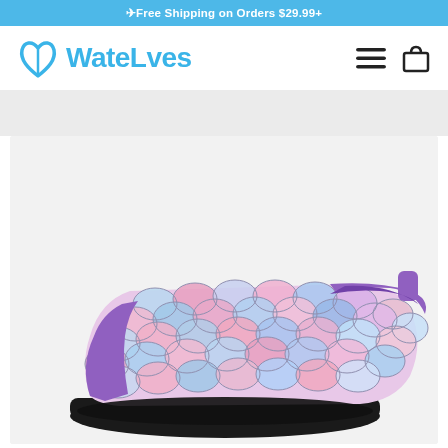✈Free Shipping on Orders $29.99+
[Figure (logo): WateLves logo with blue leaf/wing icon and blue brand name text]
[Figure (photo): Side view of a colorful water shoe/aqua sock with mermaid fish scale pattern in pink, blue, and purple colors, with a purple trim and black rubber sole]